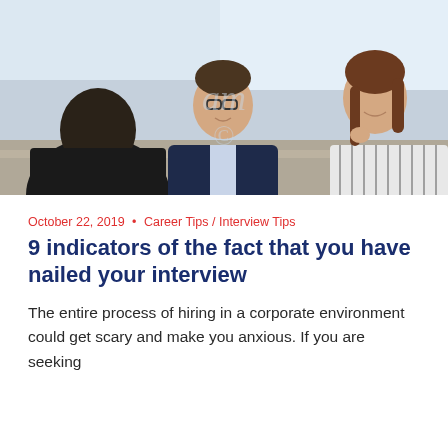[Figure (photo): Three people in a corporate interview setting: two interviewers (a man with glasses in a suit and a woman in a striped blouse) face a candidate seen from behind. Office environment with bright windows in background. Watermark text visible in center.]
October 22, 2019 • Career Tips / Interview Tips
9 indicators of the fact that you have nailed your interview
The entire process of hiring in a corporate environment could get scary and make you anxious. If you are seeking